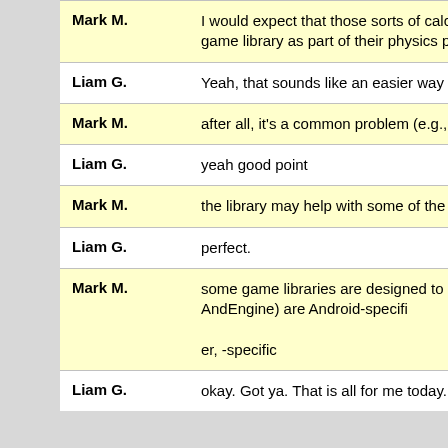| Speaker | Message |
| --- | --- |
| Mark M. | I would expect that those sorts of calculations would be handled by a game library as part of their physics package |
| Liam G. | Yeah, that sounds like an easier way of doing it versus all myself... |
| Mark M. | after all, it's a common problem (e.g., bullets hitting targets) |
| Liam G. | yeah good point |
| Mark M. | the library may help with some of the Android idiosyncrasies as well |
| Liam G. | perfect. |
| Mark M. | some game libraries are designed to be cross-platform, others (e.g., AndEngine) are Android-specifi
er, -specific |
| Liam G. | okay. Got ya. That is all for me today. I really appreciate the help. |